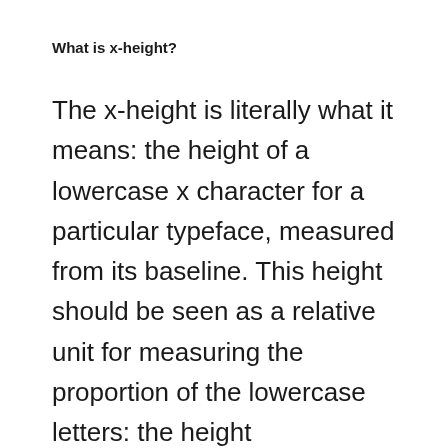What is x-height?
The x-height is literally what it means: the height of a lowercase x character for a particular typeface, measured from its baseline. This height should be seen as a relative unit for measuring the proportion of the lowercase letters: the height measurement alone, as a unit, doesn't tell us much.